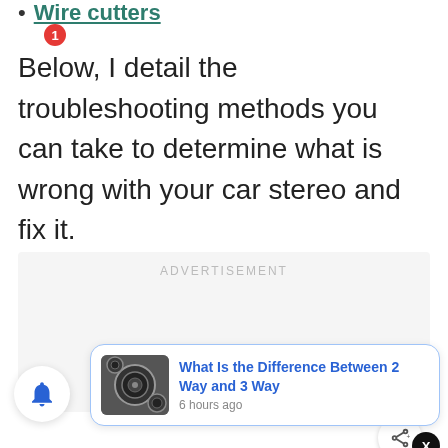Wire cutters
Below, I detail the troubleshooting methods you can take to determine what is wrong with your car stereo and fix it.
[Figure (other): Advertisement placeholder box with light grey background and ADVERTISEMENT label]
[Figure (screenshot): UI notification card showing 'What Is the Difference Between 2 Way and 3 Way' posted 6 hours ago, with a black-and-white speaker image thumbnail, a heart/like button showing count 1, a share button, an X close button, and a bell notification button with badge showing 1]